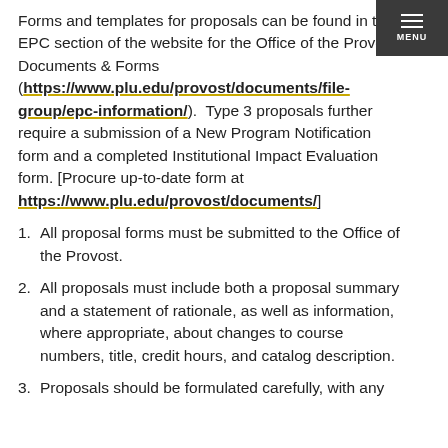Forms and templates for proposals can be found in the EPC section of the website for the Office of the Provost Documents & Forms (https://www.plu.edu/provost/documents/file-group/epc-information/). Type 3 proposals further require a submission of a New Program Notification form and a completed Institutional Impact Evaluation form. [Procure up-to-date form at https://www.plu.edu/provost/documents/]
1. All proposal forms must be submitted to the Office of the Provost.
2. All proposals must include both a proposal summary and a statement of rationale, as well as information, where appropriate, about changes to course numbers, title, credit hours, and catalog description.
3. Proposals should be formulated carefully, with any